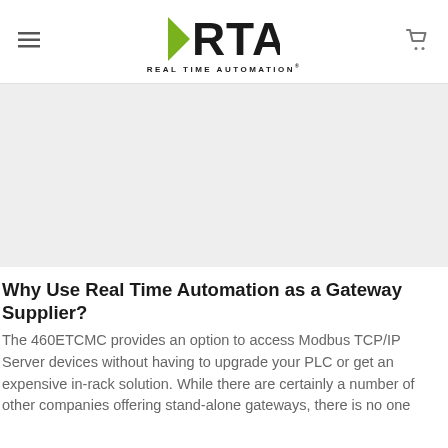Real Time Automation logo, menu icon, cart icon
[Figure (other): Gray banner/image placeholder area]
Why Use Real Time Automation as a Gateway Supplier?
The 460ETCMC provides an option to access Modbus TCP/IP Server devices without having to upgrade your PLC or get an expensive in-rack solution. While there are certainly a number of other companies offering stand-alone gateways, there is no one